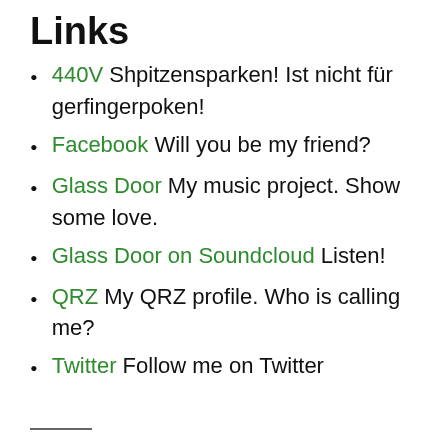Links
440V Shpitzensparken! Ist nicht für gerfingerpoken!
Facebook Will you be my friend?
Glass Door My music project. Show some love.
Glass Door on Soundcloud Listen!
QRZ My QRZ profile. Who is calling me?
Twitter Follow me on Twitter
———